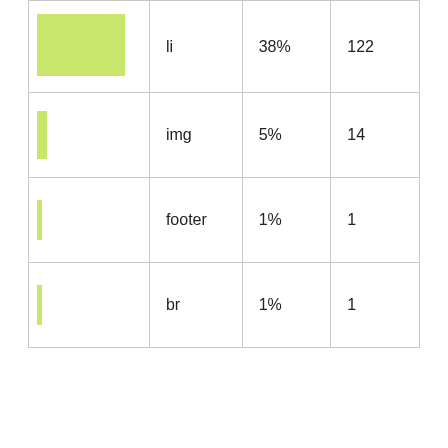| [color bar] | li | 38% | 122 |
| [color bar] | img | 5% | 14 |
| [color bar] | footer | 1% | 1 |
| [color bar] | br | 1% | 1 |